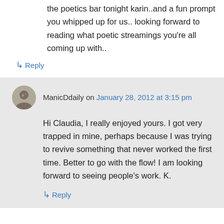the poetics bar tonight karin..and a fun prompt you whipped up for us.. looking forward to reading what poetic streamings you're all coming up with..
↳ Reply
ManicDdaily on January 28, 2012 at 3:15 pm
Hi Claudia, I really enjoyed yours. I got very trapped in mine, perhaps because I was trying to revive something that never worked the first time. Better to go with the flow! I am looking forward to seeing people's work. K.
↳ Reply